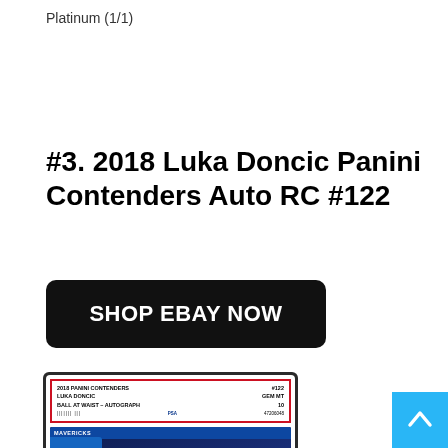Platinum (1/1)
#3. 2018 Luka Doncic Panini Contenders Auto RC #122
SHOP EBAY NOW
[Figure (photo): PSA graded 2018 Panini Contenders Luka Doncic Rookie Ticket Autograph #122 GEM MT 10 trading card inside a PSA slab case]
[Figure (other): Scroll to top button (light blue square with upward arrow)]